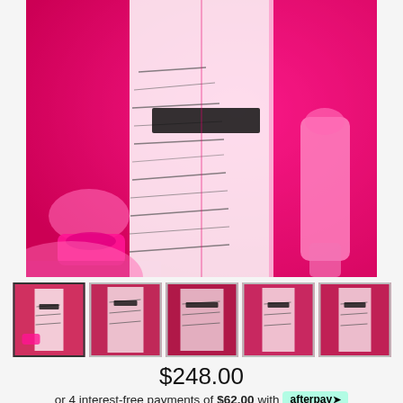[Figure (photo): Fashion product photo showing a woman in a black and white patterned dress/coat with black belt, standing in a pink-lit room with a pink rotary telephone and pink vacuum cleaner visible. Navigation arrows on left and right sides.]
[Figure (photo): Row of 5 thumbnail images of the same dress product shown from different angles against pink background.]
$248.00
or 4 interest-free payments of $62.00 with afterpay